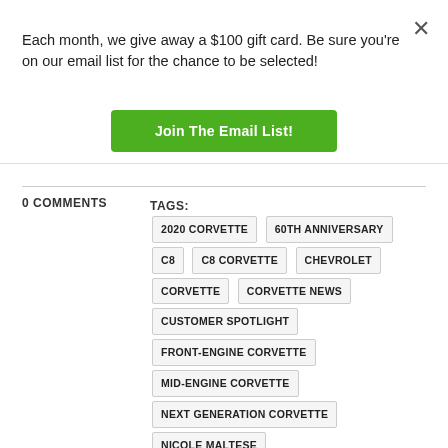Each month, we give away a $100 gift card. Be sure you’re on our email list for the chance to be selected!
Join The Email List!
0 COMMENTS
TAGS: 2020 CORVETTE  60TH ANNIVERSARY  C8  C8 CORVETTE  CHEVROLET  CORVETTE  CORVETTE NEWS  CUSTOMER SPOTLIGHT  FRONT-ENGINE CORVETTE  MID-ENGINE CORVETTE  NEXT GENERATION CORVETTE  NICOLE MALTESE  REAR ENGINE CORVETTE  STEVEN WALLACE  STINGRAY